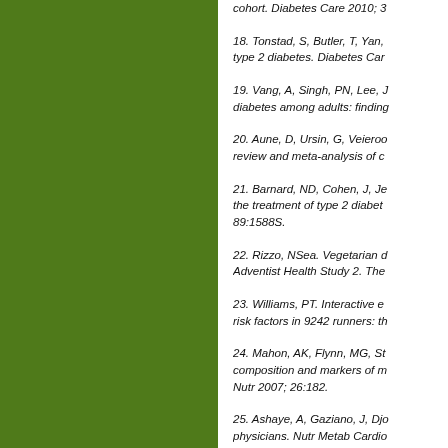cohort. Diabetes Care 2010; 3...
18. Tonstad, S, Butler, T, Yan, ... type 2 diabetes. Diabetes Car...
19. Vang, A, Singh, PN, Lee, J... diabetes among adults: finding...
20. Aune, D, Ursin, G, Veieroo... review and meta-analysis of c...
21. Barnard, ND, Cohen, J, Je... the treatment of type 2 diabet... 89:1588S.
22. Rizzo, NSea. Vegetarian d... Adventist Health Study 2. The...
23. Williams, PT. Interactive e... risk factors in 9242 runners: th...
24. Mahon, AK, Flynn, MG, St... composition and markers of m... Nutr 2007; 26:182.
25. Ashaye, A, Gaziano, J, Djo... physicians. Nutr Metab Cardio...
26. Key, TJ, Appleby, PN, Dav... results from EPIC-Oxford. Am...